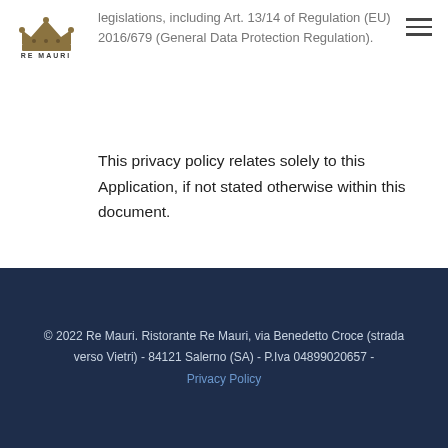[Figure (logo): Re Mauri restaurant logo with crown icon and text RE MAURI]
legislations, including Art. 13/14 of Regulation (EU) 2016/679 (General Data Protection Regulation).
This privacy policy relates solely to this Application, if not stated otherwise within this document.
© 2022 Re Mauri. Ristorante Re Mauri, via Benedetto Croce (strada verso Vietri) - 84121 Salerno (SA) - P.Iva 04899020657 - Privacy Policy